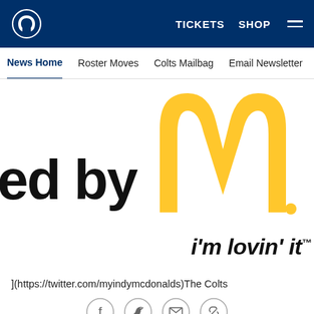Indianapolis Colts – TICKETS SHOP [menu]
News Home | Roster Moves | Colts Mailbag | Email Newsletter | U…
[Figure (logo): McDonald's golden arches logo with 'i'm lovin' it' tagline and partial text 'ed by' on the left side]
](https://twitter.com/myindymcdonalds)The Colts
[Figure (other): Social sharing icons: Facebook, Twitter, Email, Link]